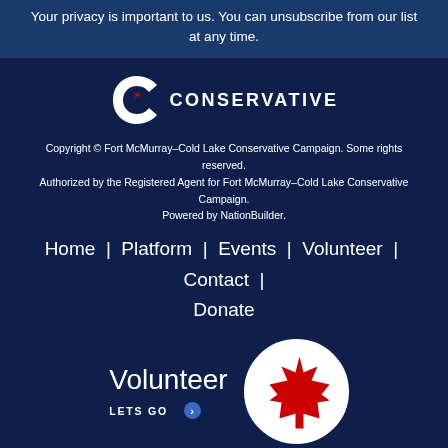Your privacy is important to us. You can unsubscribe from our list at any time.
[Figure (logo): Conservative Party of Canada logo — stylized C with maple leaf and 'CONSERVATIVE' text in white]
Copyright © Fort McMurray–Cold Lake Conservative Campaign. Some rights reserved.
Authorized by the Registered Agent for Fort McMurray–Cold Lake Conservative Campaign.
Powered by NationBuilder.
Home | Platform | Events | Volunteer | Contact | Donate
Volunteer
LETS GO →
[Figure (illustration): Circular photo of Canadian maple leaf (red) on white background]